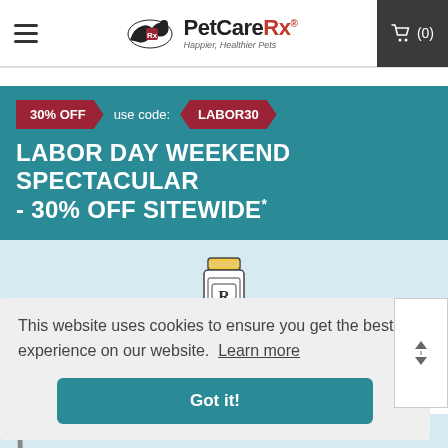[Figure (logo): PetCareRx logo with running dog silhouette and tagline 'Happier, Healthier Pets']
[Figure (infographic): Labor Day Weekend Spectacular banner with 30% OFF badge, use code: LABOR30 badge, and title text on teal background]
[Figure (illustration): Rx pill bottle icon illustration on light blue background]
This website uses cookies to ensure you get the best experience on our website. Learn more
Got it!